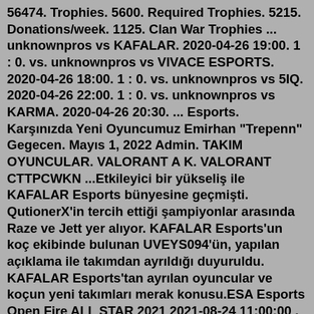56474. Trophies. 5600. Required Trophies. 5215. Donations/week. 1125. Clan War Trophies ... unknownpros vs KAFALAR. 2020-04-26 19:00. 1 : 0. vs. unknownpros vs VIVACE ESPORTS. 2020-04-26 18:00. 1 : 0. vs. unknownpros vs 5IQ. 2020-04-26 22:00. 1 : 0. vs. unknownpros vs KARMA. 2020-04-26 20:30. ... Esports. Karşınızda Yeni Oyuncumuz Emirhan "Trepenn" Gegecen. Mayıs 1, 2022 Admin. TAKIM OYUNCULAR. VALORANT A K. VALORANT CTTPCWKN ...Etkileyici bir yükseliş ile KAFALAR Esports bünyesine geçmişti. QutionerX'in tercih ettiği şampiyonlar arasında Raze ve Jett yer alıyor. KAFALAR Esports'un koç ekibinde bulunan UVEYS094'ün, yapılan açıklama ile takımdan ayrıldığı duyuruldu. KAFALAR Esports'tan ayrılan oyuncular ve koçun yeni takımları merak konusu.ESA Esports Open Fire ALL STAR 2021 2021-08-24 11:00:00 . Düzenleyen ESA Esports. closed Başlamaya 00 Gün. 00 Saat. 00 Dakika. Kayıt Ol ADIM 1: Turnuvaya katılacak